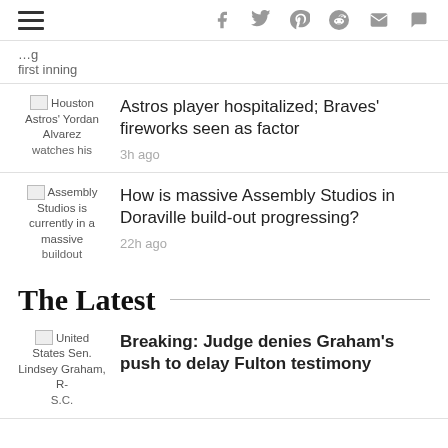Navigation bar with hamburger menu and social icons: f (Facebook), Twitter, Pinterest, Reddit, Email, Comment
first inning
Astros player hospitalized; Braves' fireworks seen as factor
3h ago
How is massive Assembly Studios in Doraville build-out progressing?
22h ago
The Latest
Breaking: Judge denies Graham's push to delay Fulton testimony